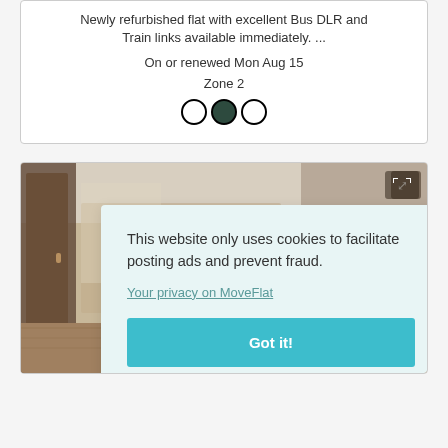Newly refurbished flat with excellent Bus DLR and Train links available immediately. ...
On or renewed Mon Aug 15
Zone 2
[Figure (illustration): Three transport mode icons (circles): green outline circle, dark filled circle, red/salmon outline circle — representing bus, DLR, and train]
[Figure (photo): Interior photo of a flat showing a room with wooden flooring, a door on the left, and a wall-mounted expand/fullscreen button icon in the top right corner]
This website only uses cookies to facilitate posting ads and prevent fraud. Your privacy on MoveFlat [link] Got it! [button]